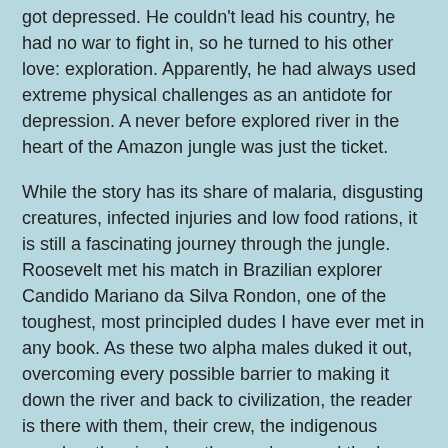got depressed. He couldn't lead his country, he had no war to fight in, so he turned to his other love: exploration. Apparently, he had always used extreme physical challenges as an antidote for depression. A never before explored river in the heart of the Amazon jungle was just the ticket.
While the story has its share of malaria, disgusting creatures, infected injuries and low food rations, it is still a fascinating journey through the jungle. Roosevelt met his match in Brazilian explorer Candido Mariano da Silva Rondon, one of the toughest, most principled dudes I have ever met in any book. As these two alpha males duked it out, overcoming every possible barrier to making it down the river and back to civilization, the reader is there with them, their crew, the indigenous peoples, the piranhas, the monkeys and the bugs.
Despite a couple of lulls in the narrative, the story rages on, as though the author were channeling Roosevelt. In fact, she herself spent time on what is now called Rio Roosevelt. I read the whole book in two days. Nonfiction rocks!